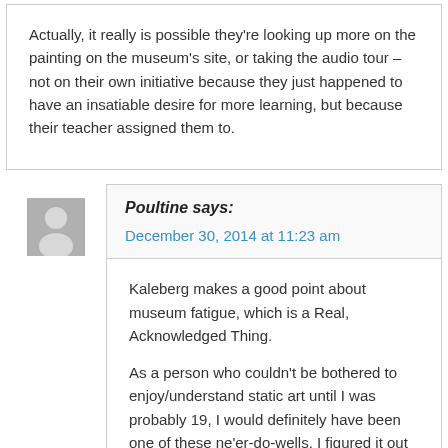Actually, it really is possible they're looking up more on the painting on the museum's site, or taking the audio tour – not on their own initiative because they just happened to have an insatiable desire for more learning, but because their teacher assigned them to.
Poultine says:
December 30, 2014 at 11:23 am
Kaleberg makes a good point about museum fatigue, which is a Real, Acknowledged Thing.
As a person who couldn't be bothered to enjoy/understand static art until I was probably 19, I would definitely have been one of these ne'er-do-wells. I figured it out eventually, though, and got